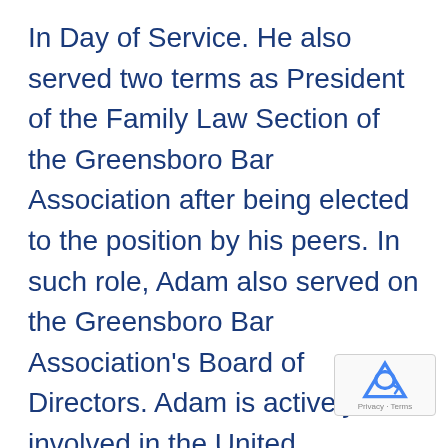In Day of Service. He also served two terms as President of the Family Law Section of the Greensboro Bar Association after being elected to the position by his peers. In such role, Adam also served on the Greensboro Bar Association's Board of Directors. Adam is actively involved in the United Methodist Church and serves on the non-profit Court Watch of North Carolina Board of Directors. Giving back to and trying to improve both the profession and the community has always been priority in his life.